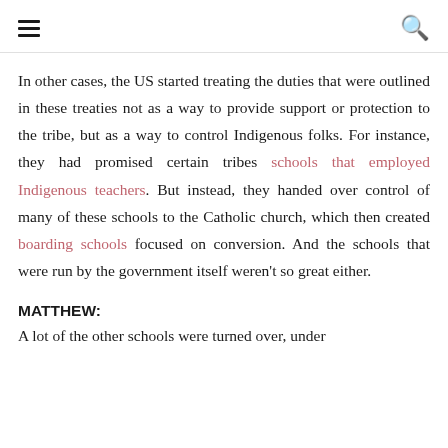≡  🔍
In other cases, the US started treating the duties that were outlined in these treaties not as a way to provide support or protection to the tribe, but as a way to control Indigenous folks. For instance, they had promised certain tribes schools that employed Indigenous teachers. But instead, they handed over control of many of these schools to the Catholic church, which then created boarding schools focused on conversion. And the schools that were run by the government itself weren't so great either.
MATTHEW:
A lot of the other schools were turned over, under